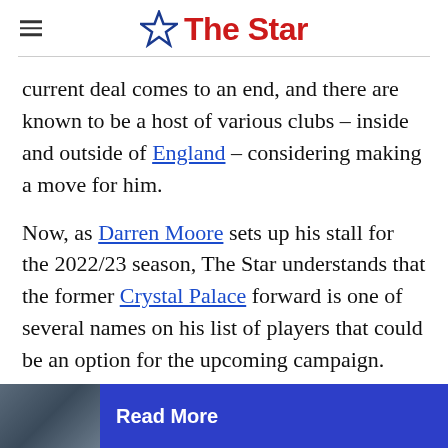The Star
current deal comes to an end, and there are known to be a host of various clubs – inside and outside of England – considering making a move for him.
Now, as Darren Moore sets up his stall for the 2022/23 season, The Star understands that the former Crystal Palace forward is one of several names on his list of players that could be an option for the upcoming campaign.
Read More